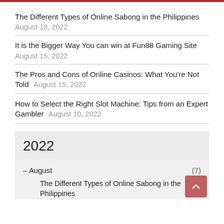The Different Types of Online Sabong in the Philippines August 18, 2022
It is the Bigger Way You can win at Fun88 Gaming Site August 15, 2022
The Pros and Cons of Online Casinos: What You're Not Told August 15, 2022
How to Select the Right Slot Machine: Tips from an Expert Gambler August 10, 2022
2022
– August (7)
The Different Types of Online Sabong in the Philippines